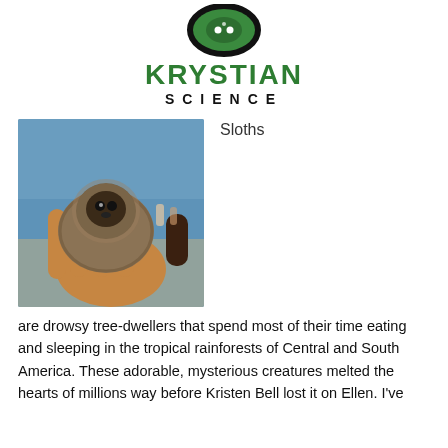[Figure (logo): Krystian Science logo: circular green badge with white dots, black ring, with 'KRYSTIAN SCIENCE' text below in green and black.]
[Figure (photo): A baby sloth being held in a human hand on a beach with ocean and people in the background. The sloth has gray-brown fur and a distinctive flat face.]
Sloths
are drowsy tree-dwellers that spend most of their time eating and sleeping in the tropical rainforests of Central and South America. These adorable, mysterious creatures melted the hearts of millions way before Kristen Bell lost it on Ellen. I've